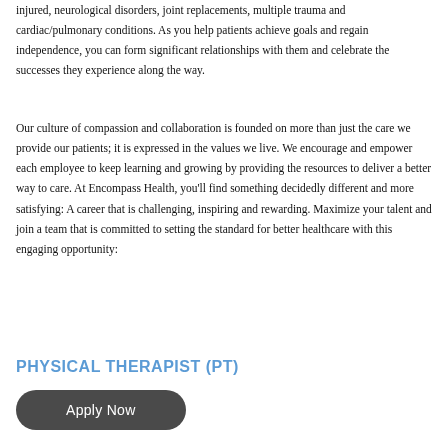injured, neurological disorders, joint replacements, multiple trauma and cardiac/pulmonary conditions. As you help patients achieve goals and regain independence, you can form significant relationships with them and celebrate the successes they experience along the way.
Our culture of compassion and collaboration is founded on more than just the care we provide our patients; it is expressed in the values we live. We encourage and empower each employee to keep learning and growing by providing the resources to deliver a better way to care. At Encompass Health, you'll find something decidedly different and more satisfying: A career that is challenging, inspiring and rewarding. Maximize your talent and join a team that is committed to setting the standard for better healthcare with this engaging opportunity:
PHYSICAL THERAPIST (PT)
Apply Now